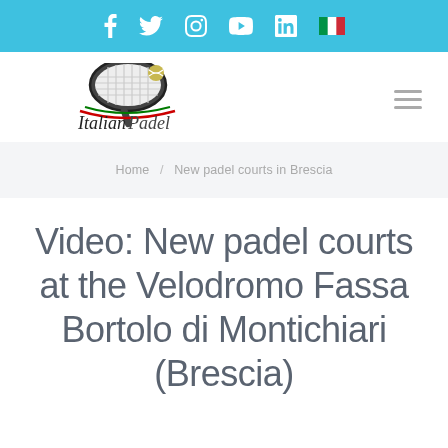Social media icons bar (Facebook, Twitter, Instagram, YouTube, LinkedIn, Italian flag)
[Figure (logo): Italian Padel logo with padel racket and text 'Italian Padel']
Home / New padel courts in Brescia
Video: New padel courts at the Velodromo Fassa Bortolo di Montichiari (Brescia)